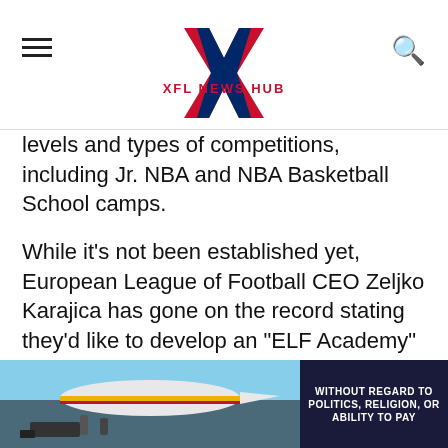XFL NEWS HUB
levels and types of competitions, including Jr. NBA and NBA Basketball School camps.
While it’s not been established yet, European League of Football CEO Zeljko Karajica has gone on the record stating they’d like to develop an “ELF Academy” with similar goals to the “NBA Academy” in mind.
The football world is decades behind basketball in regards to international growth, but there’s a reason the NFL has been trying to gain global
[Figure (photo): Advertisement banner showing an airplane being loaded, with dark overlay badge reading WITHOUT REGARD TO POLITICS, RELIGION, OR ABILITY TO PAY]